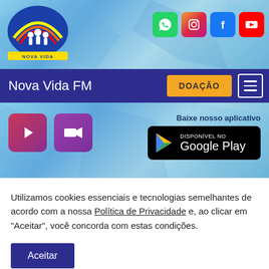[Figure (logo): Nova Vida FM radio station logo — circular logo with rainbow waves and family figures, yellow/blue coloring, text 'NOVA VIDA' and 'A RÁDIO DA FAMÍLIA!']
[Figure (infographic): Social media icons row: WhatsApp (green), Instagram (gradient), Facebook (blue), YouTube (red)]
Nova Vida FM
DOAÇÃO
[Figure (infographic): Play button (pink/purple rounded square) and video camera button (purple rounded square)]
Baixe nosso aplicativo
[Figure (infographic): Google Play store download badge — black rounded rectangle with Google Play triangle logo and text 'DISPONÍVEL NO Google Play']
Utilizamos cookies essenciais e tecnologias semelhantes de acordo com a nossa Política de Privacidade e, ao clicar em "Aceitar", você concorda com estas condições.
Aceitar